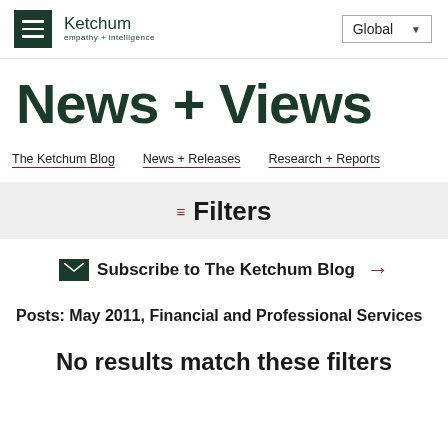Ketchum empathy + intelligence | Global
News + Views
The Ketchum Blog | News + Releases | Research + Reports
Filters
Subscribe to The Ketchum Blog →
Posts: May 2011, Financial and Professional Services
No results match these filters